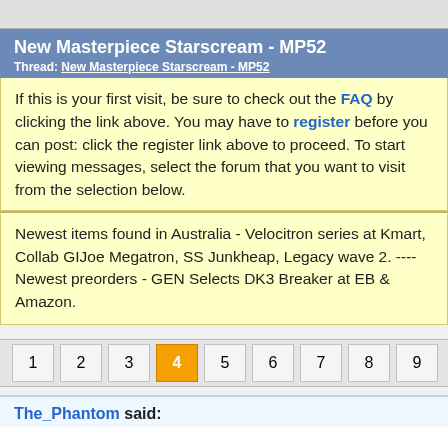New Masterpiece Starscream - MP52
Thread: New Masterpiece Starscream - MP52
If this is your first visit, be sure to check out the FAQ by clicking the link above. You may have to register before you can post: click the register link above to proceed. To start viewing messages, select the forum that you want to visit from the selection below.
Newest items found in Australia - Velocitron series at Kmart, Collab GIJoe Megatron, SS Junkheap, Legacy wave 2. ---- Newest preorders - GEN Selects DK3 Breaker at EB & Amazon.
1 2 3 4 5 6 7 8 9
The_Phantom said: